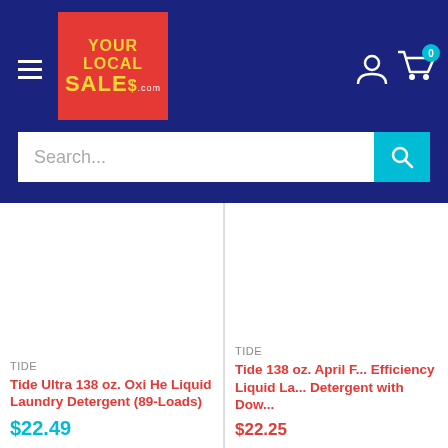YOUR LOCAL SALES.com
Search...
TIDE
Tide Ultra 138 oz. Oxi He Liquid Laundry Detergent (89-Loads)
$22.49
TIDE
Tide 138 oz. April F... Efficiency Liquid La... Detergent with Dow...
$22.25